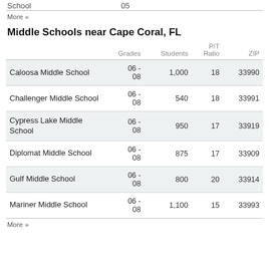School	05
More »
Middle Schools near Cape Coral, FL
|  | Grades | Students | P/T Ratio | ZIP |
| --- | --- | --- | --- | --- |
| Caloosa Middle School | 06 - 08 | 1,000 | 18 | 33990 |
| Challenger Middle School | 06 - 08 | 540 | 18 | 33991 |
| Cypress Lake Middle School | 06 - 08 | 950 | 17 | 33919 |
| Diplomat Middle School | 06 - 08 | 875 | 17 | 33909 |
| Gulf Middle School | 06 - 08 | 800 | 20 | 33914 |
| Mariner Middle School | 06 - 08 | 1,100 | 15 | 33993 |
More »